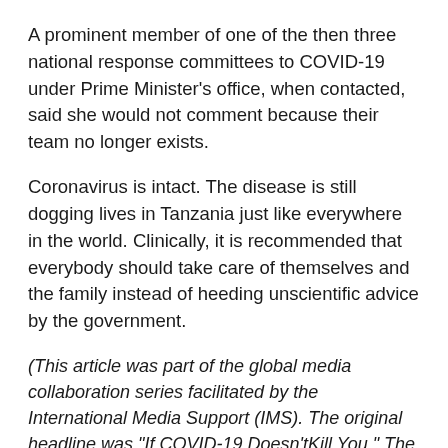A prominent member of one of the then three national response committees to COVID-19 under Prime Minister's office, when contacted, said she would not comment because their team no longer exists.
Coronavirus is intact. The disease is still dogging lives in Tanzania just like everywhere in the world. Clinically, it is recommended that everybody should take care of themselves and the family instead of heeding unscientific advice by the government.
(This article was part of the global media collaboration series facilitated by the International Media Support (IMS). The original headline was "If COVID-19 Doesn'tKill You." The contributing team includes Mekonnen Teshome (Ethiopian Herald – Ethiopia), Ali Saeed (Al Mushahid – Yemen), Carljoe Javier (Puma Podcast – Philippines) and